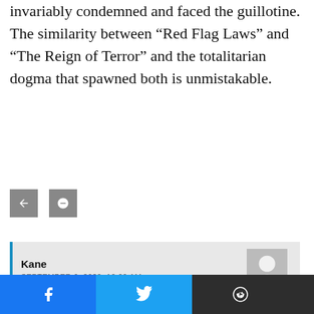invariably condemned and faced the guillotine. The similarity between “Red Flag Laws” and “The Reign of Terror” and the totalitarian dogma that spawned both is unmistakable.
[Figure (other): Two small gray share/action buttons]
Kane
SEPTEMBER 6, 2020, 10:09 AM
Excellent post, the French Revolution was early left-wing politics before Marx refined the horrendous philosophy.
[Figure (other): Two small gray share/action buttons inside comment]
[Figure (other): Bottom social sharing bar with Facebook, Twitter, Reddit, Email icons]